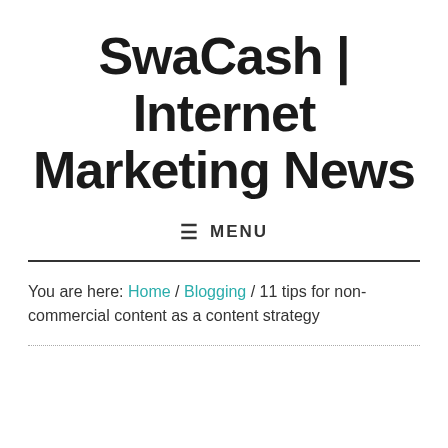SwaCash | Internet Marketing News
≡  MENU
You are here: Home / Blogging / 11 tips for non-commercial content as a content strategy